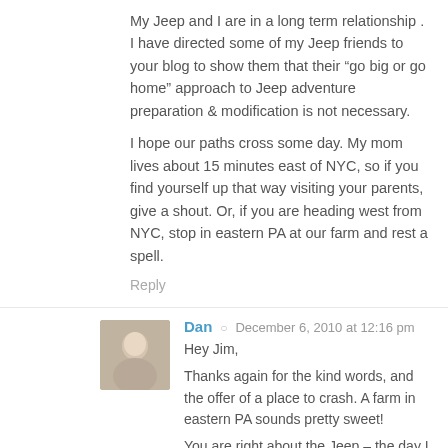My Jeep and I are in a long term relationship . I have directed some of my Jeep friends to your blog to show them that their “go big or go home” approach to Jeep adventure preparation & modification is not necessary.
I hope our paths cross some day. My mom lives about 15 minutes east of NYC, so if you find yourself up that way visiting your parents, give a shout. Or, if you are heading west from NYC, stop in eastern PA at our farm and rest a spell.
Reply
Dan ○ December 6, 2010 at 12:16 pm
Hey Jim,
Thanks again for the kind words, and the offer of a place to crash. A farm in eastern PA sounds pretty sweet!
You are right about the Jeep – the day I set off on this adventure I knew we would part ways at the end. It will be a sad day, but hopefully I can sell her to someone else that will have more huge adventures. She really does enjoy it as much as I do 😉